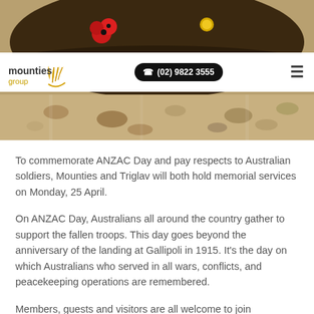[Figure (photo): Hero image of an ANZAC slouch hat with red poppies and a badge, on a sandy/pebbly background]
[Figure (logo): Mounties Group logo with golden wheat/flame design and text 'mounties group']
(02) 9822 3555
To commemorate ANZAC Day and pay respects to Australian soldiers, Mounties and Triglav will both hold memorial services on Monday, 25 April.
On ANZAC Day, Australians all around the country gather to support the fallen troops. This day goes beyond the anniversary of the landing at Gallipoli in 1915. It's the day on which Australians who served in all wars, conflicts, and peacekeeping operations are remembered.
Members, guests and visitors are all welcome to join